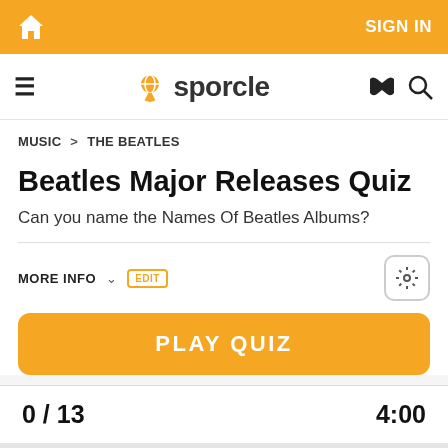SIGN IN
[Figure (logo): Sporcle logo with orange globe icon and text 'sporcle']
MUSIC > THE BEATLES
Beatles Major Releases Quiz
Can you name the Names Of Beatles Albums?
MORE INFO
PLAY QUIZ
0 / 13
4:00